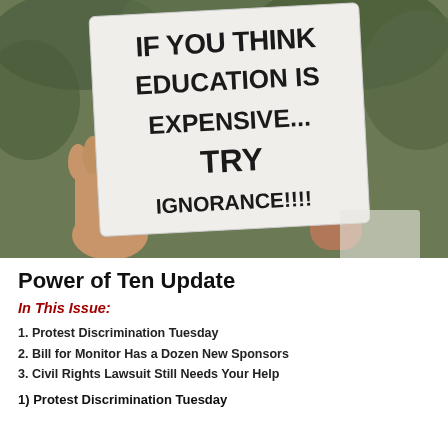[Figure (photo): Hands holding a protest sign that reads: IF YOU THINK EDUCATION IS EXPENSIVE... TRY IGNORANCE!!!!]
Power of Ten Update
In This Issue:
1. Protest Discrimination Tuesday
2. Bill for Monitor Has a Dozen New Sponsors
3. Civil Rights Lawsuit Still Needs Your Help
1) Protest Discrimination Tuesday